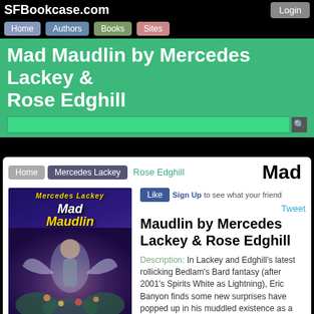SFBookcase.com
Home | Authors | Books | Sites | Login
Mad Maudlin by Mercedes Lackey & Rose Edghill
Home > Mercedes Lackey > Rose Edghill   Mad
[Figure (illustration): Book cover for Mad Maudlin by Mercedes Lackey and Rosemary Edghill, showing fantasy artwork with a figure and magical elements on a purple/blue background]
Series: Bedlamz Bard
Volume: 5
Genre: Fantasy
ISBN: 0743471431
Like   Sign Up to see what your friends...
Tweet
Maudlin by Mercedes Lackey & Rose Edghill
Description: In Lackey and Edghill's latest rollicking Bedlam's Bard fantasy (after 2001's Spirits White as Lightning), Eric Banyon finds some new surprises have popped up in his muddled existence as a human artist, magical Bard and former Juilliard student. They include a brother he never knew